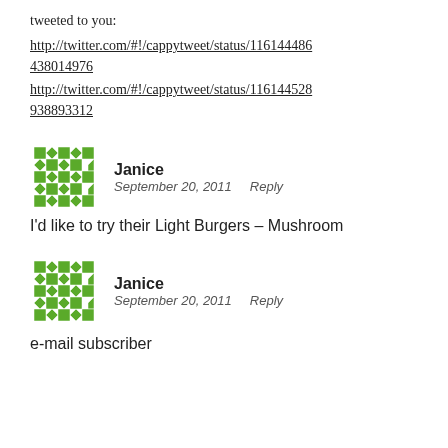tweeted to you:
http://twitter.com/#!/cappytweet/status/116144486438014976
http://twitter.com/#!/cappytweet/status/116144528938893312
Janice
September 20, 2011   Reply
I’d like to try their Light Burgers – Mushroom
Janice
September 20, 2011   Reply
e-mail subscriber